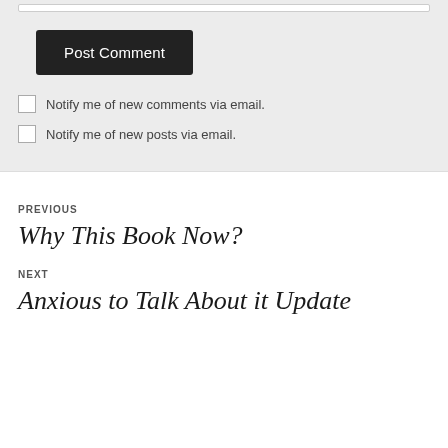Post Comment
Notify me of new comments via email.
Notify me of new posts via email.
PREVIOUS
Why This Book Now?
NEXT
Anxious to Talk About it Update